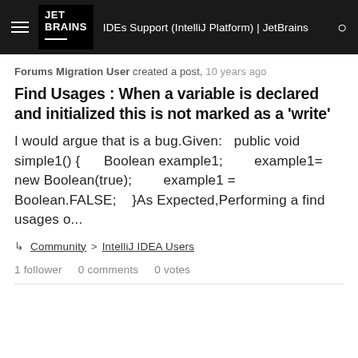IDEs Support (IntelliJ Platform) | JetBrains
Forums Migration User created a post, 10 years ago
Find Usages : When a variable is declared and initialized this is not marked as a 'write'
I would argue that is a bug.Given:   public void simple1() {      Boolean example1;       example1= new Boolean(true);       example1 = Boolean.FALSE;    }As Expected,Performing a find usages o...
Community > IntelliJ IDEA Users
1 follower   0 comments   0 votes